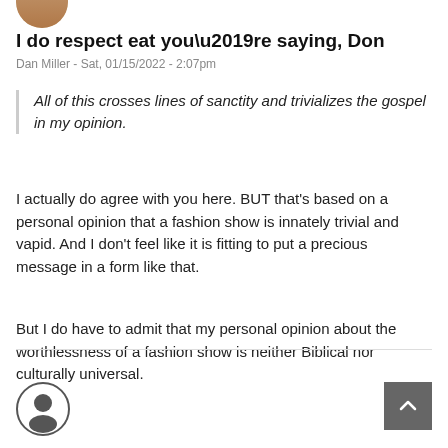[Figure (photo): Partial avatar/profile photo at top, cropped circle showing person]
I do respect eat you’re saying, Don
Dan Miller - Sat, 01/15/2022 - 2:07pm
All of this crosses lines of sanctity and trivializes the gospel in my opinion.
I actually do agree with you here. BUT that's based on a personal opinion that a fashion show is innately trivial and vapid. And I don’t feel like it is fitting to put a precious message in a form like that.
But I do have to admit that my personal opinion about the worthlessness of a fashion show is neither Biblical nor culturally universal.
[Figure (illustration): Generic user avatar icon — circle with person silhouette outline]
[Figure (other): Back to top button — dark grey square with upward chevron arrow]